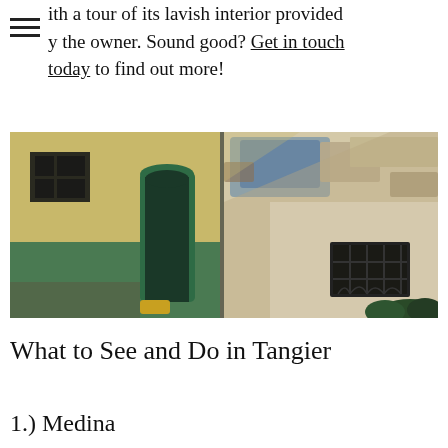ith a tour of its lavish interior provided y the owner. Sound good? Get in touch today to find out more!
[Figure (photo): A narrow alley in Tangier medina showing aged walls — left side with yellow and green painted plaster building with a barred window and arched doorway, right side with crumbling blue and white plaster walls and ornate barred window, green shrub visible at bottom right, strong sunlight and shadows]
What to See and Do in Tangier
1.) Medina